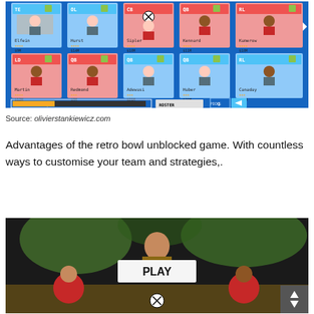[Figure (screenshot): Retro Bowl game roster/team management screen showing player cards with names, ratings (stars), and salaries. Blue and red cards displayed in two rows. Salary cap bar (6MM/100MM) and ROSTER/PICKS UI elements visible at bottom.]
Source: olivierstankiewicz.com
Advantages of the retro bowl unblocked game. With countless ways to customise your team and strategies,.
[Figure (screenshot): Retro Bowl game play screen showing a 3D football player character holding a ball with a PLAY button overlay in the center. Two red characters visible at bottom corners. Dark background with trees.]